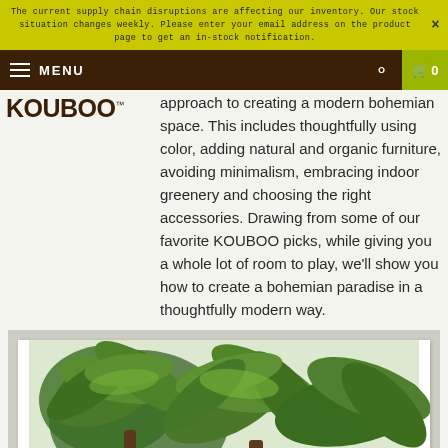The current supply chain disruptions are affecting our inventory. Our stock situation changes weekly. Please enter your email address on the product page to get an in-stock notification.
MENU | search | cart 0
[Figure (logo): KOUBOO logo in dark brown serif/sans font with TM mark]
approach to creating a modern bohemian space. This includes thoughtfully using color, adding natural and organic furniture, avoiding minimalism, embracing indoor greenery and choosing the right accessories. Drawing from some of our favorite KOUBOO picks, while giving you a whole lot of room to play, we'll show you how to create a bohemian paradise in a thoughtfully modern way.
[Figure (photo): Photograph of large palm trees with lush green fronds against a light sky, framed in white with a light grey outer border]